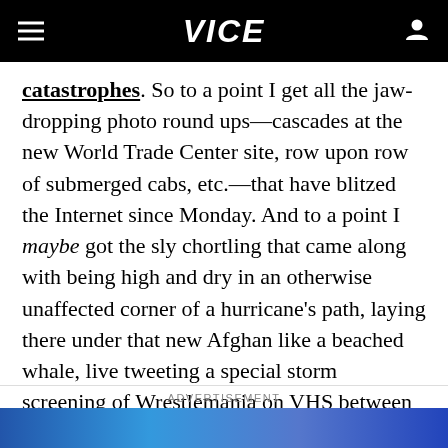VICE
catastrophes. So to a point I get all the jaw-dropping photo round ups—cascades at the new World Trade Center site, row upon row of submerged cabs, etc.—that have blitzed the Internet since Monday. And to a point I maybe got the sly chortling that came along with being high and dry in an otherwise unaffected corner of a hurricane's path, laying there under that new Afghan like a beached whale, live tweeting a special storm screening of Wrestlemania on VHS between pulls of La Fin Du Monde.
ADVERTISEMENT